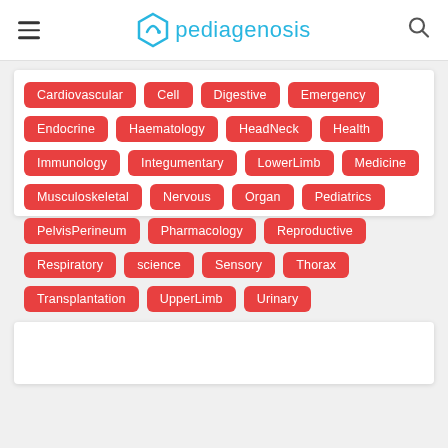pediagenosis
[Figure (other): Tag cloud of medical categories on pediagenosis website: Cardiovascular, Cell, Digestive, Emergency, Endocrine, Haematology, HeadNeck, Health, Immunology, Integumentary, LowerLimb, Medicine, Musculoskeletal, Nervous, Organ, Pediatrics, PelvisPerineum, Pharmacology, Reproductive, Respiratory, science, Sensory, Thorax, Transplantation, UpperLimb, Urinary]